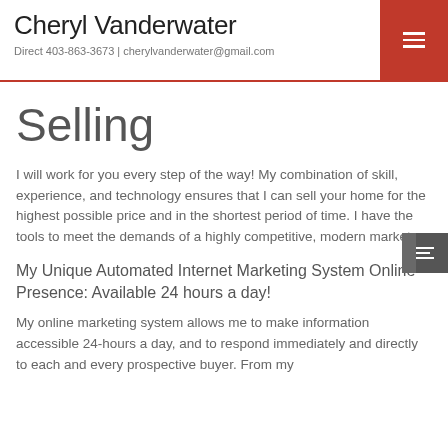Cheryl Vanderwater
Direct 403-863-3673 | cherylvanderwater@gmail.com
Selling
I will work for you every step of the way! My combination of skill, experience, and technology ensures that I can sell your home for the highest possible price and in the shortest period of time. I have the tools to meet the demands of a highly competitive, modern market.
My Unique Automated Internet Marketing System Online Presence: Available 24 hours a day!
My online marketing system allows me to make information accessible 24-hours a day, and to respond immediately and directly to each and every prospective buyer. From my